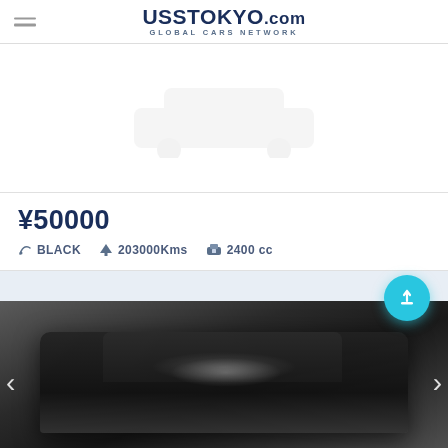UssTokyо.com GLOBAL CARS NETWORK
[Figure (photo): White/blank car listing image area at top]
¥50000
BLACK   203000Kms   2400 cc
[Figure (photo): Black and white photograph of a car, partially visible, with left and right navigation arrows]